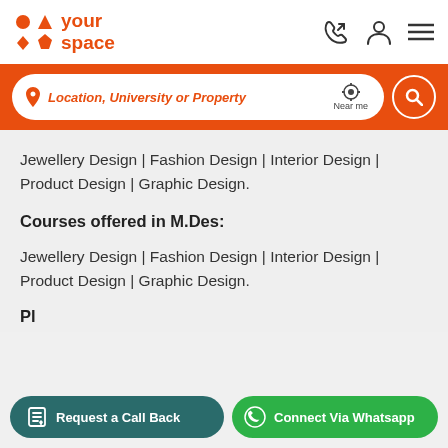[Figure (logo): yourspace logo with orange geometric icons and orange text]
[Figure (screenshot): Search bar with location pin icon, placeholder text 'Location, University or Property', Near me button, and orange search button]
Jewellery Design | Fashion Design | Interior Design | Product Design | Graphic Design.
Courses offered in M.Des:
Jewellery Design | Fashion Design | Interior Design | Product Design | Graphic Design.
Pl
Request a Call Back
Connect Via Whatsapp